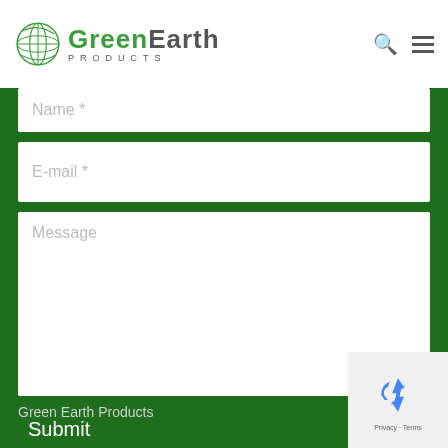[Figure (logo): GreenEarth Products logo with green globe icon and company name]
Name *
E-mail *
Message
Submit
Contact
Green Earth Products